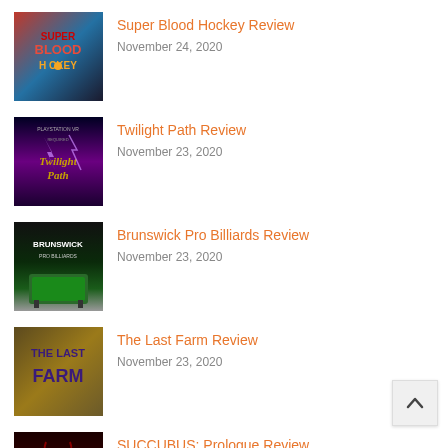[Figure (screenshot): Super Blood Hockey game cover art - cartoon hockey players on red and blue background]
Super Blood Hockey Review
November 24, 2020
[Figure (screenshot): Twilight Path VR game cover - dark fantasy with purple glowing text on dark background, PlayStation VR Required label]
Twilight Path Review
November 23, 2020
[Figure (screenshot): Brunswick Pro Billiards game cover - billiards table on dark background with Brunswick Pro Billiards logo]
Brunswick Pro Billiards Review
November 23, 2020
[Figure (screenshot): The Last Farm game cover - golden/brown background with stylized purple and gold text 'THE LAST FARM']
The Last Farm Review
November 23, 2020
[Figure (screenshot): SUCCUBUS: Prologue game cover - dark red demonic figure on black background]
SUCCUBUS: Prologue Review
November 23, 2020